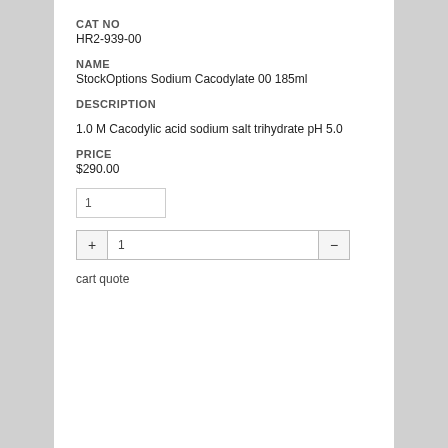CAT NO
HR2-939-00
NAME
StockOptions Sodium Cacodylate 00 185ml
DESCRIPTION
1.0 M Cacodylic acid sodium salt trihydrate pH 5.0
PRICE
$290.00
1
+ 1 −
cart quote